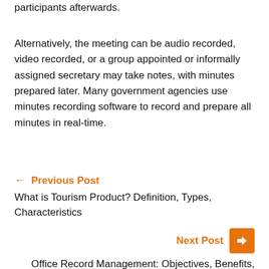participants afterwards.
Alternatively, the meeting can be audio recorded, video recorded, or a group appointed or informally assigned secretary may take notes, with minutes prepared later. Many government agencies use minutes recording software to record and prepare all minutes in real-time.
← Previous Post
What is Tourism Product? Definition, Types, Characteristics
Next Post →
Office Record Management: Objectives, Benefits, Key to Effective